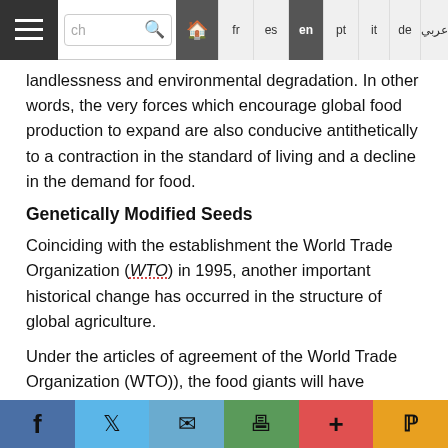Navigation bar with hamburger menu, search, language options: fr es en pt it de arabic
landlessness and environmental degradation. In other words, the very forces which encourage global food production to expand are also conducive antithetically to a contraction in the standard of living and a decline in the demand for food.
Genetically Modified Seeds
Coinciding with the establishment the World Trade Organization (WTO) in 1995, another important historical change has occurred in the structure of global agriculture.
Under the articles of agreement of the World Trade Organization (WTO)), the food giants will have unrestricted freedom to enter the seeds markets of developing countries. The acquisition of exclusive “intellectual property rights” over plant varieties by international agro-industrial interests, also favors the
Social share bar: Facebook, Twitter, Email, Print, Plus, Pocket